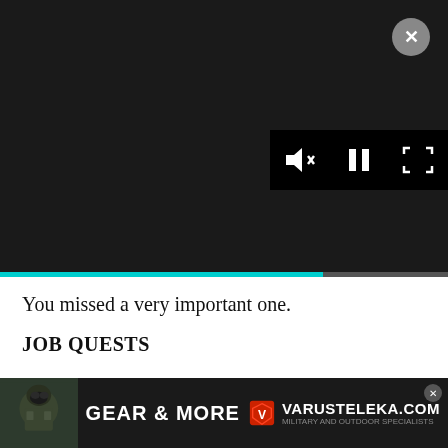[Figure (screenshot): Video player overlay with playback controls (mute, pause, fullscreen) on dark background, close button (X) in top-right corner, and a cyan progress bar at bottom]
Nerketu
November
You missed a very important one.
JOB QUESTS
Job quests are very important to do. If you have a job quest available and you have to do a dungeon for MSQ, DO THE JOB QUEST FIRST. There are no exceptions to this, other than the level cap quests which are
[Figure (photo): Advertisement banner for Varusteleka.com showing a soldier in tactical gear on the left, 'GEAR & MORE' text in center, and the Varusteleka.com logo with brand icon on the right]